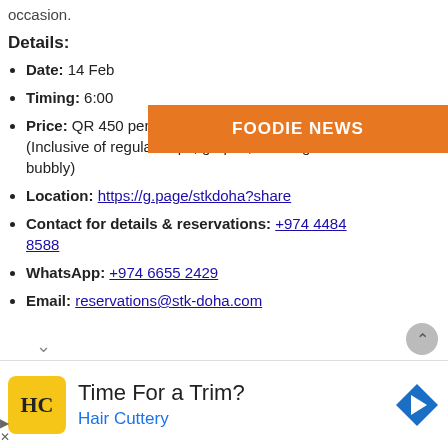occasion.
Details:
Date: 14 Feb...
Timing: 6:00...
Price: QR 450 per couple QR 799 per couple (Inclusive of regular hops, grapes, beverages & bubbly)
Location: https://g.page/stkdoha?share
Contact for details & reservations: +974 4484 8588
WhatsApp: +974 6655 2429
Email: reservations@stk-doha.com
[Figure (infographic): Orange banner overlay with text FOODIE NEWS]
[Figure (infographic): Advertisement bar: Hair Cuttery - Time For a Trim? with HC logo and navigation arrow icon]